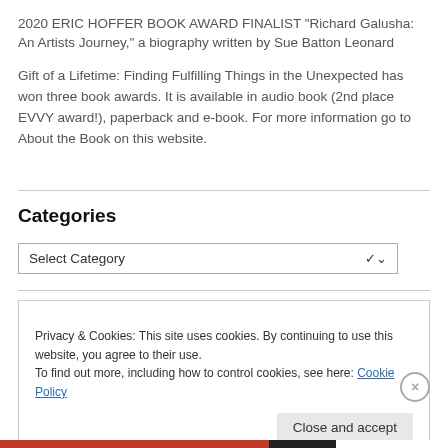2020 ERIC HOFFER BOOK AWARD FINALIST  "Richard Galusha: An Artists Journey," a biography written by Sue Batton Leonard
Gift of a Lifetime: Finding Fulfilling Things in the Unexpected has won three book awards. It is available in audio book (2nd place EVVY award!), paperback and e-book. For more information go to About the Book on this website.
Categories
Select Category
Privacy & Cookies: This site uses cookies. By continuing to use this website, you agree to their use.
To find out more, including how to control cookies, see here: Cookie Policy
Close and accept